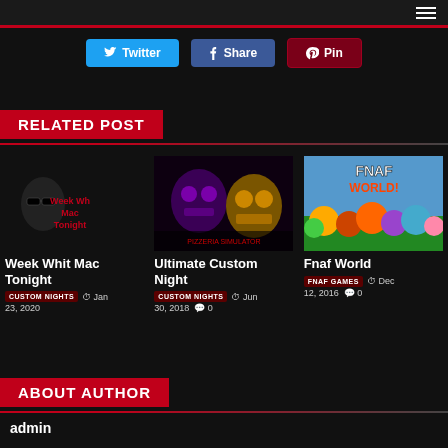[Figure (screenshot): Top navigation bar with hamburger menu icon]
[Figure (infographic): Social share buttons: Twitter, Share (Facebook), Pin (Pinterest)]
RELATED POST
[Figure (illustration): Thumbnail image for 'Week Whit Mac Tonight' post showing a dark character with sunglasses and red text]
Week Whit Mac Tonight
CUSTOM NIGHTS   Jan 23, 2020   0
[Figure (illustration): Thumbnail image for 'Ultimate Custom Night' post showing purple and gold animatronic characters]
Ultimate Custom Night
CUSTOM NIGHTS   Jun 30, 2018   0
[Figure (illustration): Thumbnail image for 'Fnaf World' post showing colorful FNAF characters]
Fnaf World
FNAF GAMES   Dec 12, 2016   0
ABOUT AUTHOR
admin